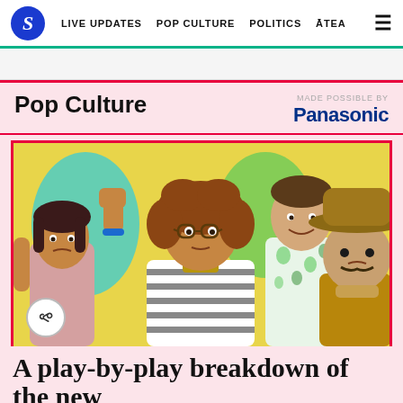S | LIVE UPDATES  POP CULTURE  POLITICS  ĀTEA
Pop Culture
MADE POSSIBLE BY Panasonic
[Figure (photo): Four people posing against a yellow background: a woman with dark hair on the left, an older woman in a striped shirt with glasses in the center-front, a man in a tropical shirt behind, and a man in a wide-brim hat on the right.]
A play-by-play breakdown of the new